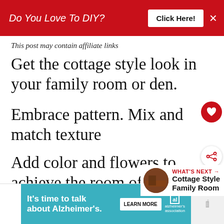Do You Love To DIY?  Click Here!  ×
This post may contain affiliate links
Get the cottage style look in your family room or den.
Embrace pattern. Mix and match texture
Add color and flowers to achieve the room of your design dreams.
WHAT'S NEXT → Cottage Style Family Room
[Figure (screenshot): Advertisement banner: It's time to talk about Alzheimer's. LEARN MORE button with alzheimer's association logo.]